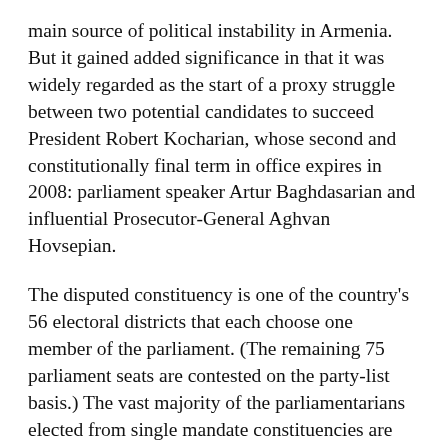main source of political instability in Armenia. But it gained added significance in that it was widely regarded as the start of a proxy struggle between two potential candidates to succeed President Robert Kocharian, whose second and constitutionally final term in office expires in 2008: parliament speaker Artur Baghdasarian and influential Prosecutor-General Aghvan Hovsepian.
The disputed constituency is one of the country's 56 electoral districts that each choose one member of the parliament. (The remaining 75 parliament seats are contested on the party-list basis.) The vast majority of the parliamentarians elected from single mandate constituencies are wealthy, have connections with the government, and were either born in the region they represent or managed to